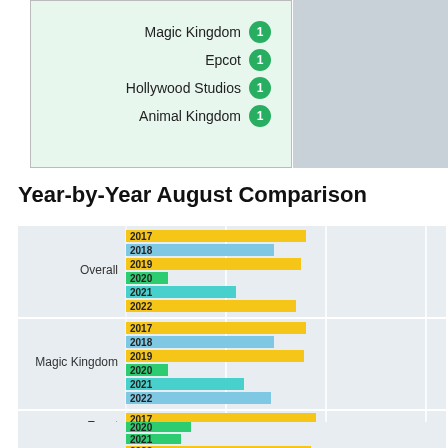[Figure (infographic): Legend box with green background listing Magic Kingdom, Epcot, Hollywood Studios, Animal Kingdom each with a green badge showing 1]
Year-by-Year August Comparison
[Figure (bar-chart): Year-by-Year August Comparison]